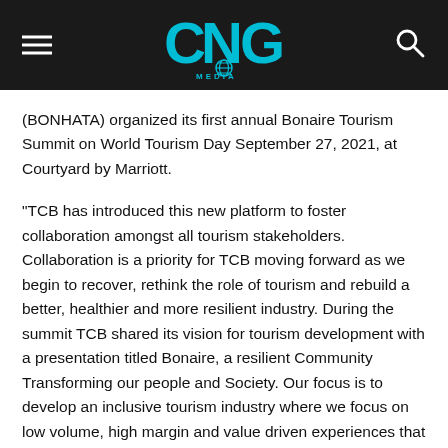CNG Media
(BONHATA) organized its first annual Bonaire Tourism Summit on World Tourism Day September 27, 2021, at Courtyard by Marriott.
“TCB has introduced this new platform to foster collaboration amongst all tourism stakeholders. Collaboration is a priority for TCB moving forward as we begin to recover, rethink the role of tourism and rebuild a better, healthier and more resilient industry. During the summit TCB shared its vision for tourism development with a presentation titled Bonaire, a resilient Community Transforming our people and Society. Our focus is to develop an inclusive tourism industry where we focus on low volume, high margin and value driven experiences that are part of our cultural and community’s DNA. TCB shared the highlights of its strategy on the way to move forward to position our island amongst the competition